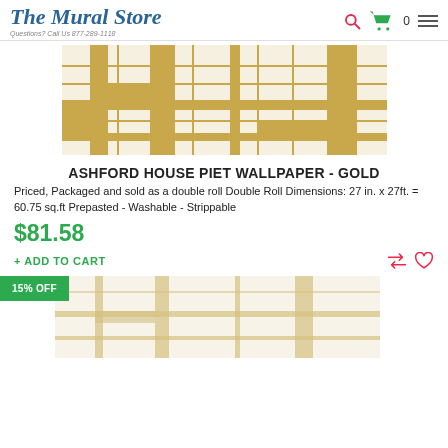The Mural Store — Questions? Call Us 877-289-1118
[Figure (photo): Gold and cream geometric Mondrian-style wallpaper pattern preview image]
ASHFORD HOUSE PIET WALLPAPER - GOLD
Priced, Packaged and sold as a double roll Double Roll Dimensions: 27 in. x 27ft. = 60.75 sq.ft Prepasted - Washable - Strippable
$81.58
+ ADD TO CART
[Figure (photo): Second wallpaper product thumbnail with 15% OFF badge, showing a lighter geometric pattern]